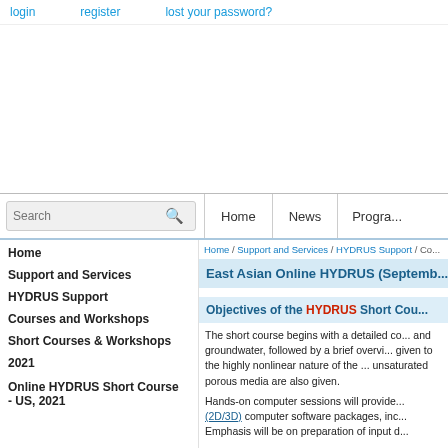login   register   lost your password?
[Figure (other): Advertisement/banner area (blank white space)]
Search  Home  News  Program
Home
Support and Services
HYDRUS Support
Courses and Workshops
Short Courses & Workshops
2021
Online HYDRUS Short Course - US, 2021
Home / Support and Services / HYDRUS Support / Co...
East Asian Online HYDRUS (Septemb...
Objectives of the HYDRUS Short Cou...
The short course begins with a detailed co... and groundwater, followed by a brief overvi... given to the highly nonlinear nature of the ... unsaturated porous media are also given.
Hands-on computer sessions will provide... (2D/3D) computer software packages, inc... Emphasis will be on preparation of input d...